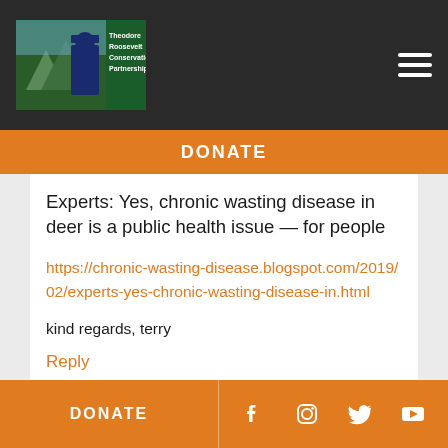[Figure (logo): Theodore Roosevelt Conservation Partnership logo with man in hat and mountain/wildlife scene]
DONATE
Experts: Yes, chronic wasting disease in deer is a public health issue — for people
https://chronic-wasting-disease.blogspot.com/2019/02/experts-yes-chronic-wasting-disease-in.html
kind regards, terry
Reply
8.
[Figure (illustration): User avatar showing Theodore Roosevelt Conservation Partnership logo icon]
— Patrick
DONATE